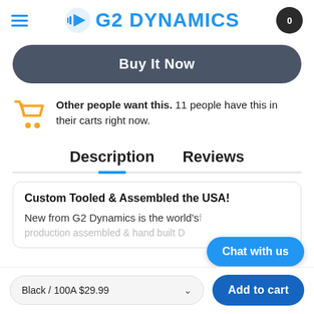G2 DYNAMICS
Buy It Now
Other people want this. 11 people have this in their carts right now.
Description   Reviews
Custom Tooled & Assembled the USA!
New from G2 Dynamics is the world's production assembled & hand built D...
Black / 100A $29.99
Add to cart
Chat with us